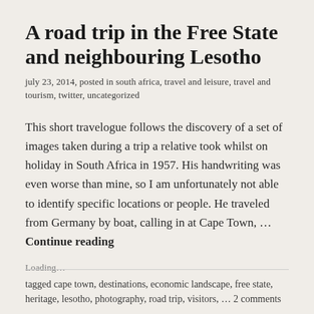A road trip in the Free State and neighbouring Lesotho
july 23, 2014, posted in south africa, travel and leisure, travel and tourism, twitter, uncategorized
This short travelogue follows the discovery of a set of images taken during a trip a relative took whilst on holiday in South Africa in 1957. His handwriting was even worse than mine, so I am unfortunately not able to identify specific locations or people. He traveled from Germany by boat, calling in at Cape Town, … Continue reading
Loading…
tagged cape town, destinations, economic landscape, free state, heritage, lesotho, photography, road trip, visitors, … 2 comments